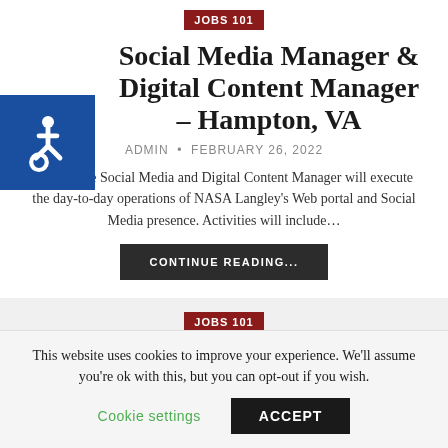JOBS 101
Social Media Manager & Digital Content Manager – Hampton, VA
ADMIN • FEBRUARY 26, 2022
[ad_1] The Social Media and Digital Content Manager will execute the day-to-day operations of NASA Langley's Web portal and Social Media presence. Activities will include…
CONTINUE READING...
JOBS 101
Operations Director – Vancouver, WA 98661
ADMIN • FEBRUARY 23, 2022
This website uses cookies to improve your experience. We'll assume you're ok with this, but you can opt-out if you wish.
Cookie settings
ACCEPT